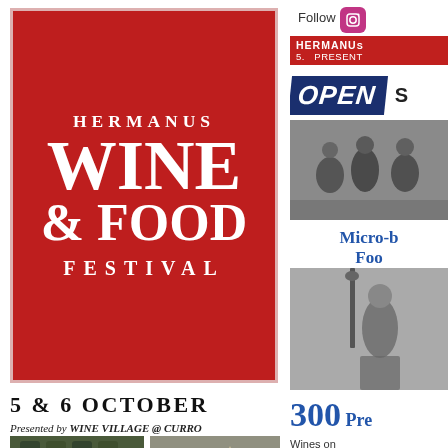[Figure (logo): Hermanus Wine & Food Festival logo on red background with white text]
5 & 6 OCTOBER
Presented by WINE VILLAGE @ CURRO
[Figure (photo): Two photos: wine bottles and outdoor festival crowd]
Follow
[Figure (logo): Instagram icon]
[Figure (screenshot): Hermanus Wine Festival Instagram profile box in red]
[Figure (illustration): OPEN banner in dark navy italic style]
[Figure (photo): Black and white photo of a band/musicians]
Micro-b
Foo
[Figure (photo): Black and white photo of a performer at microphone]
300 Pre
Wines on[...]